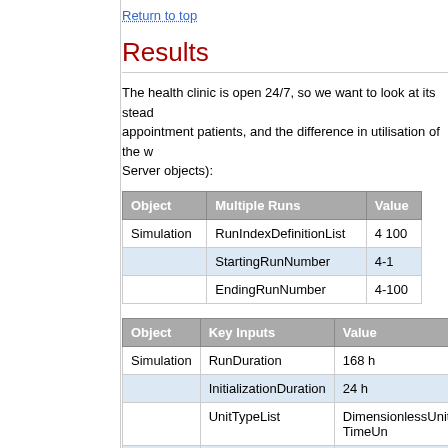Return to top
Results
The health clinic is open 24/7, so we want to look at its steady appointment patients, and the difference in utilisation of the w Server objects):
| Object | Multiple Runs | Value |
| --- | --- | --- |
| Simulation | RunIndexDefinitionList | 4 100 |
|  | StartingRunNumber | 4-1 |
|  | EndingRunNumber | 4-100 |
| Object | Key Inputs | Value |
| --- | --- | --- |
| Simulation | RunDuration | 168 h |
|  | InitializationDuration | 24 h |
|  | UnitTypeList | DimensionlessUnit TimeUn |
|  |  | TimeUnit TimeUnit Dimensi |
|  | RunOutputList | { [Simulation].RunIndex(1) |